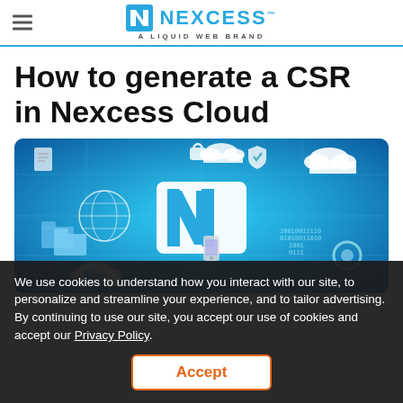Nexcess — A Liquid Web Brand
How to generate a CSR in Nexcess Cloud
[Figure (illustration): Blue technology/cloud computing illustration with Nexcess N logo in center, surrounded by icons for cloud storage, security, networking, files, globe, mobile devices, and binary code on a cyan/blue digital background.]
We use cookies to understand how you interact with our site, to personalize and streamline your experience, and to tailor advertising. By continuing to use our site, you accept our use of cookies and accept our Privacy Policy.